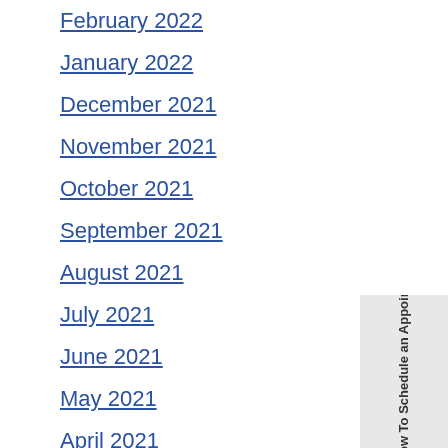February 2022
January 2022
December 2021
November 2021
October 2021
September 2021
August 2021
July 2021
June 2021
May 2021
April 2021
March 2021
February 2021
[Figure (other): Rotated sidebar button with text 'Call Now To Schedule an Appointment']